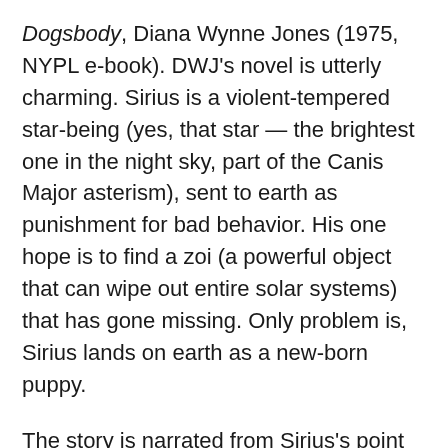Dogsbody, Diana Wynne Jones (1975, NYPL e-book). DWJ's novel is utterly charming. Sirius is a violent-tempered star-being (yes, that star — the brightest one in the night sky, part of the Canis Major asterism), sent to earth as punishment for bad behavior. His one hope is to find a zoi (a powerful object that can wipe out entire solar systems) that has gone missing. Only problem is, Sirius lands on earth as a new-born puppy.
The story is narrated from Sirius's point of view, and we watch him learn about his new world from the viewpoint of a rapidly growing dog, whose outsized feet and uncontrollable tail are constantly getting him into trouble. He gets help from a couple of astral beings, but also finds some other astral beings have arrived to destroy him and take the zoi for themselves. And, of course, humans come